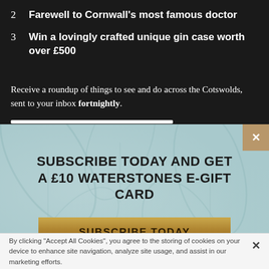2  Farewell to Cornwall's most famous doctor
3  Win a lovingly crafted unique gin case worth over £500
Receive a roundup of things to see and do across the Cotswolds, sent to your inbox fortnightly.
SUBSCRIBE TODAY AND GET A £10 WATERSTONES E-GIFT CARD
SUBSCRIBE TODAY
By clicking "Accept All Cookies", you agree to the storing of cookies on your device to enhance site navigation, analyze site usage, and assist in our marketing efforts.